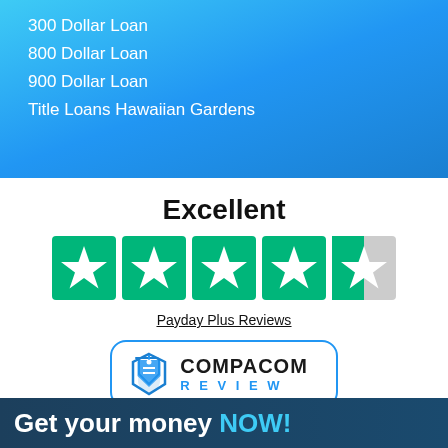300 Dollar Loan
800 Dollar Loan
900 Dollar Loan
Title Loans Hawaiian Gardens
Excellent
[Figure (other): Trustpilot 4.5 star rating — five green star icons (last one half-filled)]
Payday Plus Reviews
[Figure (logo): COMPACOM REVIEW logo in a rounded rectangle border, with a blue tag icon on the left]
Get your money NOW!